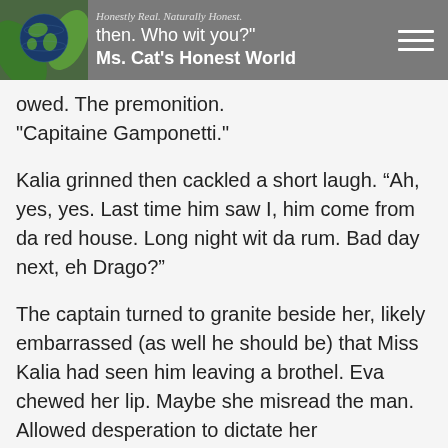Honestly Real. Naturally Honest. | then. Who wit you? | Ms. Cat's Honest World
owed. The premonition.
"Capitaine Gamponetti."
Kalia grinned then cackled a short laugh. “Ah, yes, yes. Last time him saw I, him come from da red house. Long night wit da rum. Bad day next, eh Drago?”
The captain turned to granite beside her, likely embarrassed (as well he should be) that Miss Kalia had seen him leaving a brothel. Eva chewed her lip. Maybe she misread the man. Allowed desperation to dictate her impressions.
The old woman approached the wagon, swaying like seaweed with the tide, perhaps due to aching